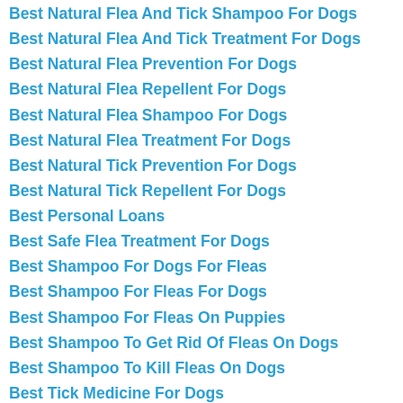Best Natural Flea And Tick Shampoo For Dogs
Best Natural Flea And Tick Treatment For Dogs
Best Natural Flea Prevention For Dogs
Best Natural Flea Repellent For Dogs
Best Natural Flea Shampoo For Dogs
Best Natural Flea Treatment For Dogs
Best Natural Tick Prevention For Dogs
Best Natural Tick Repellent For Dogs
Best Personal Loans
Best Safe Flea Treatment For Dogs
Best Shampoo For Dogs For Fleas
Best Shampoo For Fleas For Dogs
Best Shampoo For Fleas On Puppies
Best Shampoo To Get Rid Of Fleas On Dogs
Best Shampoo To Kill Fleas On Dogs
Best Tick Medicine For Dogs
Best Tick Prevention For Dogs
Best Tick Repellent For Dogs
Best Tick Shampoo For Dogs
Best Tick Shampoo For Puppies
Best Tick Spray For Dogs